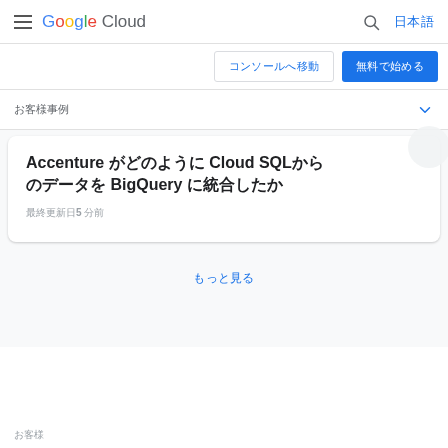Google Cloud
コンソールへ移動　無料で始める
お客様事例
Accenture がどのように Cloud SQLからの データを BigQuery に統合したか
最終更新日5 分前
もっと見る
お客様